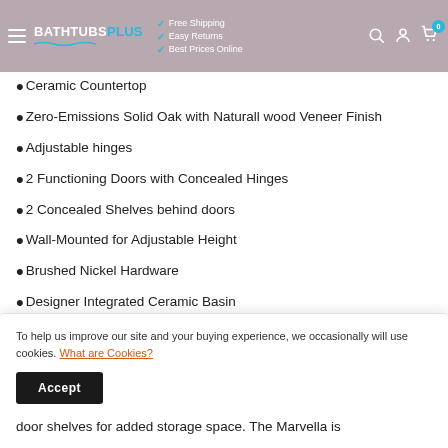BATHTUBSPLUS — Free Shipping, Easy Returns, Best Prices Online
Ceramic Countertop
Zero-Emissions Solid Oak with Naturall wood Veneer Finish
Adjustable hinges
2 Functioning Doors with Concealed Hinges
2 Concealed Shelves behind doors
Wall-Mounted for Adjustable Height
Brushed Nickel Hardware
Designer Integrated Ceramic Basin
Aluminum Framed Mirror
door shelves for added storage space. The Marvella is